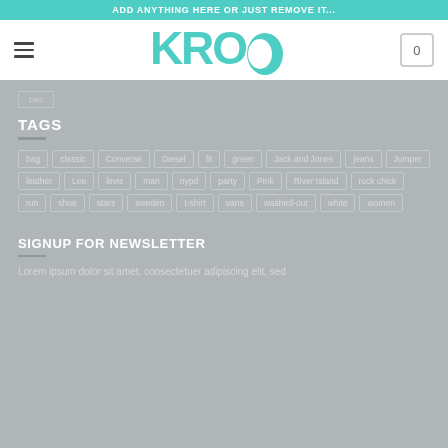ADD ANYTHING HERE OR JUST REMOVE IT...
[Figure (logo): KROQ logo in teal/turquoise color with hamburger menu icon on left and cart icon (0) on right]
TAGS
bag
classic
Converse
Diesel
fit
green
Jack and Jones
jeans
Jumper
leather
Lee
levis
man
nypd
party
Pink
River Island
rock chick
run
shoe
stars
sweden
t-shirt
vans
washed-out
white
women
SIGNUP FOR NEWSLETTER
Lorem ipsum dolor sit amet, consectetuer adipiscing elit, sed